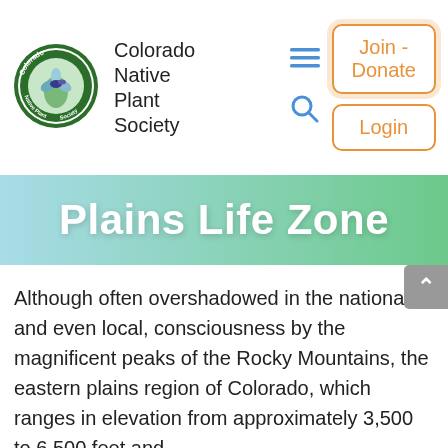[Figure (logo): Colorado Native Plant Society circular logo with green border and plant/bird illustration]
Colorado Native Plant Society
[Figure (other): Hamburger menu icon (three horizontal blue lines)]
[Figure (other): Search magnifying glass icon in blue]
[Figure (other): Join - Donate button with orange border and glow]
[Figure (other): Login button with orange border]
Plains Life Zone
Although often overshadowed in the national, and even local, consciousness by the magnificent peaks of the Rocky Mountains, the eastern plains region of Colorado, which ranges in elevation from approximately 3,500 to 6,500 feet and